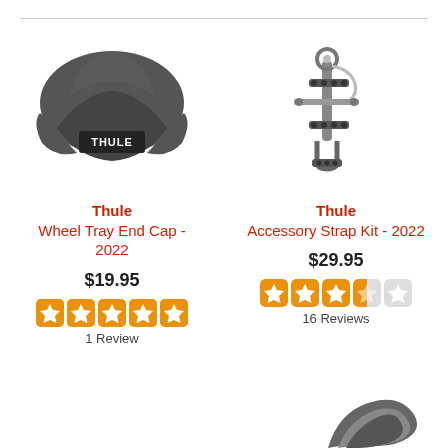[Figure (photo): Thule Wheel Tray End Cap - a dark grey curved plastic end cap with Thule logo]
[Figure (photo): Thule Accessory Strap Kit 2022 - metal straps and mounting hardware on white background]
Thule
Wheel Tray End Cap - 2022
$19.95
1 Review
Thule
Accessory Strap Kit - 2022
$29.95
16 Reviews
[Figure (photo): Partial view of a dark strap/buckle accessory at bottom right]